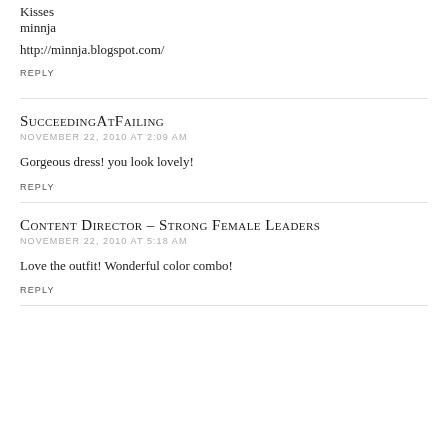Kisses
minnja

http://minnja.blogspot.com/
REPLY
SucceedingAtFailing
NOVEMBER 22, 2010 AT 2:09 AM
Gorgeous dress! you look lovely!
REPLY
Content Director – Strong Female Leaders
NOVEMBER 22, 2010 AT 5:18 AM
Love the outfit! Wonderful color combo!
REPLY